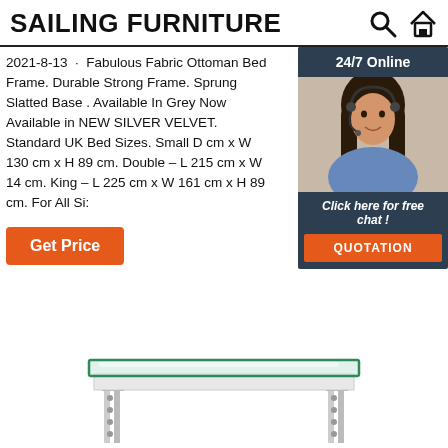SAILING FURNITURE
2021-8-13 · Fabulous Fabric Ottoman Bed Frame. Durable Strong Frame. Sprung Slatted Base . Available In Grey Now Available in NEW SILVER VELVET. Standard UK Bed Sizes. Small D cm x W 130 cm x H 89 cm. Double – L 215 cm x W 14 cm. King – L 225 cm x W 161 cm x H 89 cm. For All Si:
Get Price
[Figure (photo): Customer service representative woman with headset smiling, with '24/7 Online' header and 'Click here for free chat!' and 'QUOTATION' button overlay]
[Figure (photo): White desk or table with glass top and metal legs, partially visible at bottom of page]